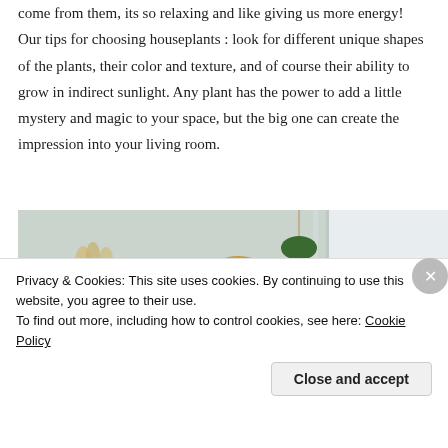come from them, its so relaxing and like giving us more energy! Our tips for choosing houseplants : look for different unique shapes of the plants, their color and texture, and of course their ability to grow in indirect sunlight. Any plant has the power to add a little mystery and magic to your space, but the big one can create the impression into your living room.
[Figure (photo): Photo of a room interior with a wooden shelf holding potted plants including a cactus, dried pampas grass, a straw hat, and decorative items on a light teal/grey wall. White room visible to the right side.]
Privacy & Cookies: This site uses cookies. By continuing to use this website, you agree to their use.
To find out more, including how to control cookies, see here: Cookie Policy
Close and accept